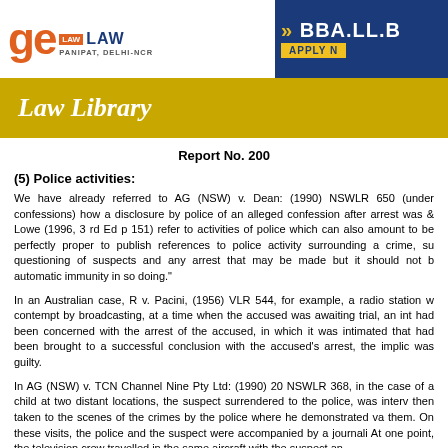GE Institute of Law — PANIPAT, DELHI-NCR | BBA.LL.B APPLY NOW
Law Library
Report No. 200
(5) Police activities:
We have already referred to AG (NSW) v. Dean: (1990) NSWLR 650 (under confessions) how a disclosure by police of an alleged confession after arrest was & Lowe (1996, 3 rd Ed p 151) refer to activities of police which can also amount to be perfectly proper to publish references to police activity surrounding a crime, such questioning of suspects and any arrest that may be made but it should not be automatic immunity in so doing."
In an Australian case, R v. Pacini, (1956) VLR 544, for example, a radio station was contempt by broadcasting, at a time when the accused was awaiting trial, an interview had been concerned with the arrest of the accused, in which it was intimated that had been brought to a successful conclusion with the accused's arrest, the implication was guilty.
In AG (NSW) v. TCN Channel Nine Pty Ltd: (1990) 20 NSWLR 368, in the case of a a child at two distant locations, the suspect surrendered to the police, was interviewed, then taken to the scenes of the crimes by the police where he demonstrated various them. On these visits, the police and the suspect were accompanied by a journalist. At one point, the television crew travelled in the same aircraft with the suspect and